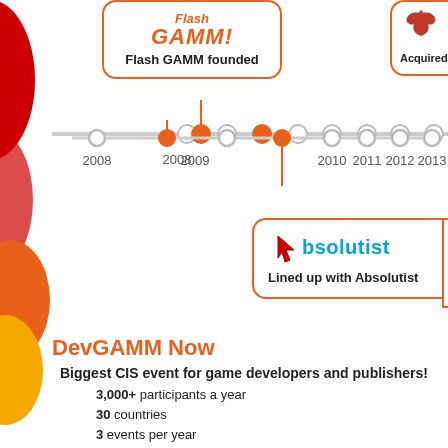[Figure (infographic): Timeline showing GAMM history. Flash GAMM box at top-left (2009 node), Absolutist partnership box below (2009-2010 area), partial box at top-right (2013+). Timeline with nodes for years 2008-2013.]
DevGAMM Now
Biggest CIS event for game developers and publishers!
3,000+ participants a year
30 countries
3 events per year
70% developers, 20% publishers
95% of content about game development
Why DevGAMM?